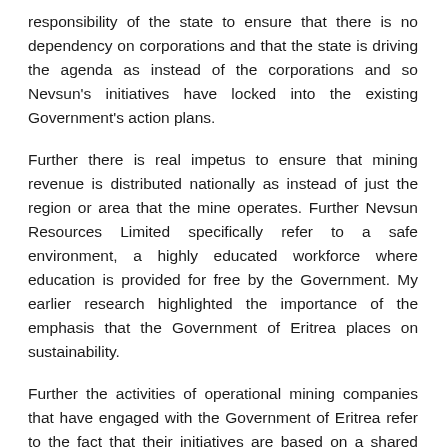responsibility of the state to ensure that there is no dependency on corporations and that the state is driving the agenda as instead of the corporations and so Nevsun's initiatives have locked into the existing Government's action plans.
Further there is real impetus to ensure that mining revenue is distributed nationally as instead of just the region or area that the mine operates. Further Nevsun Resources Limited specifically refer to a safe environment, a highly educated workforce where education is provided for free by the Government. My earlier research highlighted the importance of the emphasis that the Government of Eritrea places on sustainability.
Further the activities of operational mining companies that have engaged with the Government of Eritrea refer to the fact that their initiatives are based on a shared development.